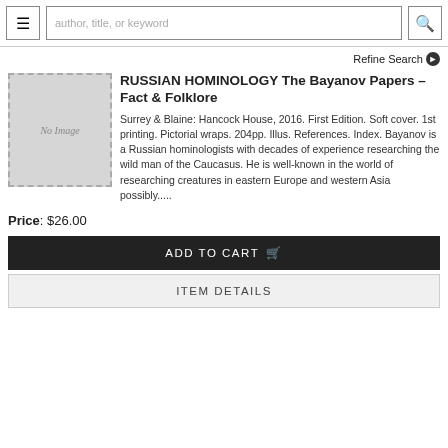author, title, or keyword
Refine Search
[Figure (other): No Image placeholder box with dashed border]
RUSSIAN HOMINOLOGY The Bayanov Papers – Fact & Folklore
Surrey & Blaine: Hancock House, 2016. First Edition. Soft cover. 1st printing. Pictorial wraps. 204pp. Illus. References. Index. Bayanov is a Russian hominologists with decades of experience researching the wild man of the Caucasus. He is well-known in the world of researching creatures in eastern Europe and western Asia possibly......
Price: $26.00
ADD TO CART
ITEM DETAILS